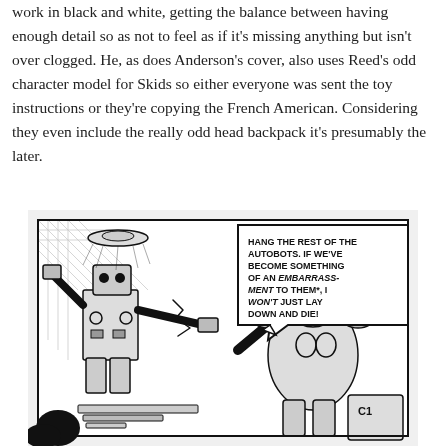work in black and white, getting the balance between having enough detail so as not to feel as if it's missing anything but isn't over clogged. He, as does Anderson's cover, also uses Reed's odd character model for Skids so either everyone was sent the toy instructions or they're copying the French American. Considering they even include the really odd head backpack it's presumably the later.
[Figure (illustration): Black and white comic panel showing two robot characters (Transformers/Autobots) in a confrontation. One robot on the left faces another on the right. A speech bubble reads: 'HANG THE REST OF THE AUTOBOTS. IF WE'VE BECOME SOMETHING OF AN EMBARRASS-MENT TO THEM*, I WON'T JUST LAY DOWN AND DIE!']